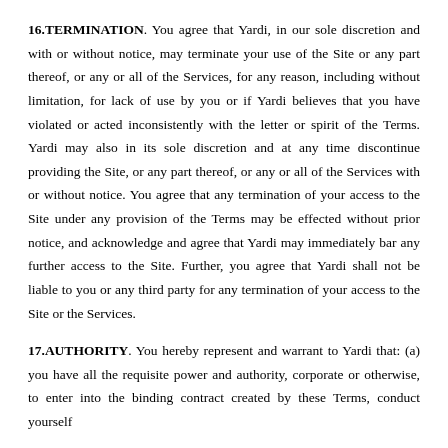16.TERMINATION. You agree that Yardi, in our sole discretion and with or without notice, may terminate your use of the Site or any part thereof, or any or all of the Services, for any reason, including without limitation, for lack of use by you or if Yardi believes that you have violated or acted inconsistently with the letter or spirit of the Terms. Yardi may also in its sole discretion and at any time discontinue providing the Site, or any part thereof, or any or all of the Services with or without notice. You agree that any termination of your access to the Site under any provision of the Terms may be effected without prior notice, and acknowledge and agree that Yardi may immediately bar any further access to the Site. Further, you agree that Yardi shall not be liable to you or any third party for any termination of your access to the Site or the Services.
17.AUTHORITY. You hereby represent and warrant to Yardi that: (a) you have all the requisite power and authority, corporate or otherwise, to enter into the binding contract created by these Terms, conduct yourself